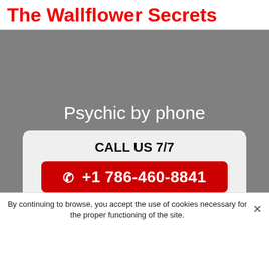The Wallflower Secrets
[Figure (other): Gray background image area with white text 'Psychic by phone' overlaid, and a call-to-action card at the bottom with 'CALL US 7/7' and a red button showing '+1 786-460-8841']
By continuing to browse, you accept the use of cookies necessary for the proper functioning of the site.